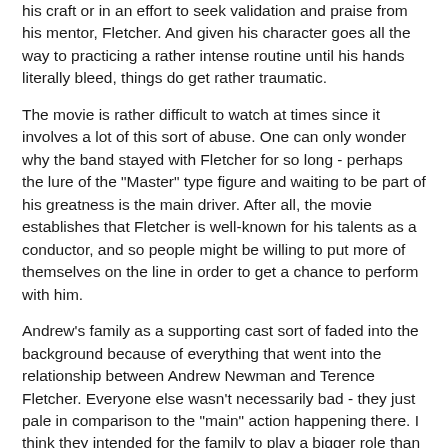his craft or in an effort to seek validation and praise from his mentor, Fletcher. And given his character goes all the way to practicing a rather intense routine until his hands literally bleed, things do get rather traumatic.
The movie is rather difficult to watch at times since it involves a lot of this sort of abuse. One can only wonder why the band stayed with Fletcher for so long - perhaps the lure of the "Master" type figure and waiting to be part of his greatness is the main driver. After all, the movie establishes that Fletcher is well-known for his talents as a conductor, and so people might be willing to put more of themselves on the line in order to get a chance to perform with him.
Andrew's family as a supporting cast sort of faded into the background because of everything that went into the relationship between Andrew Newman and Terence Fletcher. Everyone else wasn't necessarily bad - they just pale in comparison to the "main" action happening there. I think they intended for the family to play a bigger role than they did, but that just didn't quite come across
Which brings the me to raising it up a couple notches above